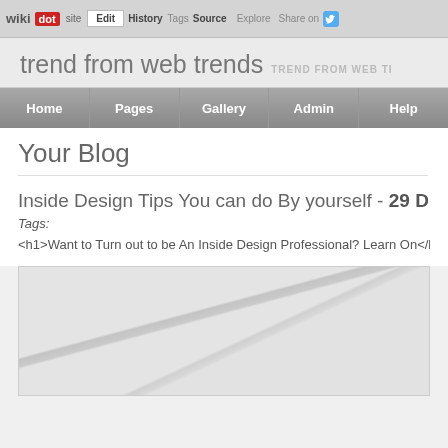wikidot | Edit | History | Tags | Source | Explore | Share on Twitter
trend from web trends | TREND FROM WEB TREN...
Home | Pages | Gallery | Admin | Help
Your Blog
Inside Design Tips You can do By yourself - 29 De...
Tags:
<h1>Want to Turn out to be An Inside Design Professional? Learn On</h1
[Figure (photo): Decorative image placeholder with light gray gradient]